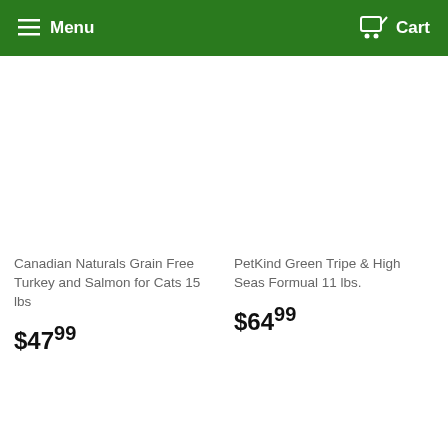Menu  Cart
Canadian Naturals Grain Free Turkey and Salmon for Cats 15 lbs
$47.99
PetKind Green Tripe & High Seas Formual 11 lbs.
$64.99